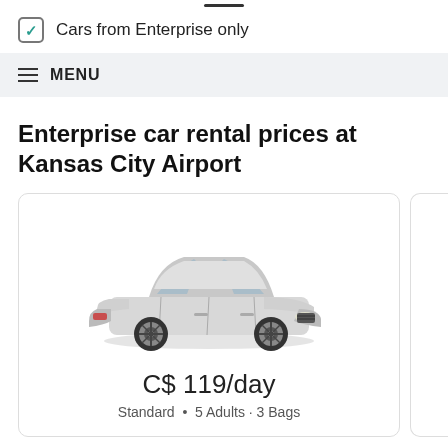Cars from Enterprise only
MENU
Enterprise car rental prices at Kansas City Airport
[Figure (photo): Silver sedan car (Kia Stinger or similar standard car) shown from a front 3/4 angle]
C$ 119/day
Standard • 5 Adults • 3 Bags